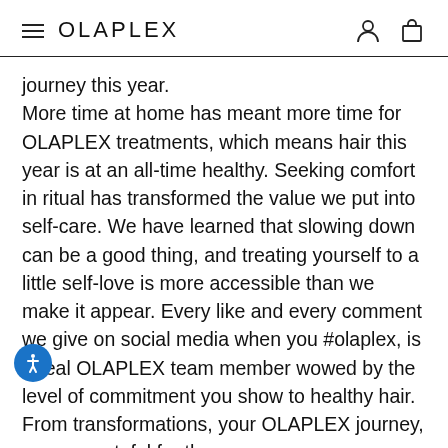OLAPLEX
journey this year. More time at home has meant more time for OLAPLEX treatments, which means hair this year is at an all-time healthy. Seeking comfort in ritual has transformed the value we put into self-care. We have learned that slowing down can be a good thing, and treating yourself to a little self-love is more accessible than we make it appear. Every like and every comment we give on social media when you #olaplex, is a real OLAPLEX team member wowed by the level of commitment you show to healthy hair. From transformations, your OLAPLEX journey, we are grateful for the